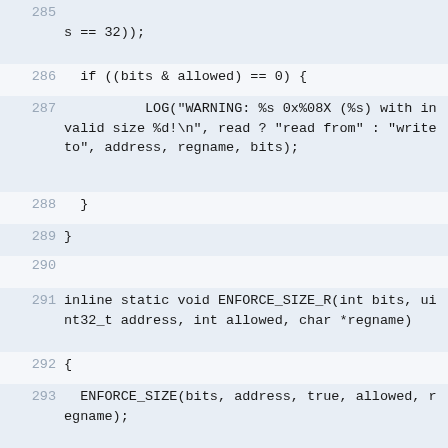285 (line partial) ... s == 32));
286  if ((bits & allowed) == 0) {
287          LOG("WARNING: %s 0x%08X (%s) with invalid size %d!\n", read ? "read from" : "write to", address, regname, bits);
288  }
289 }
290
291 inline static void ENFORCE_SIZE_R(int bits, uint32_t address, int allowed, char *regname)
292 {
293  ENFORCE_SIZE(bits, address, true, allowed, regname);
294 }
295
296 inline static void ENFORCE_SIZE_W(int bits, uint32_t address, int allowed, char *regname)
297 {
298  ENFORCE_SIZE(bits, address, false, allowed, regname);
299 }
300
301 void IoWrite(uint32_t address, uint32_t dat